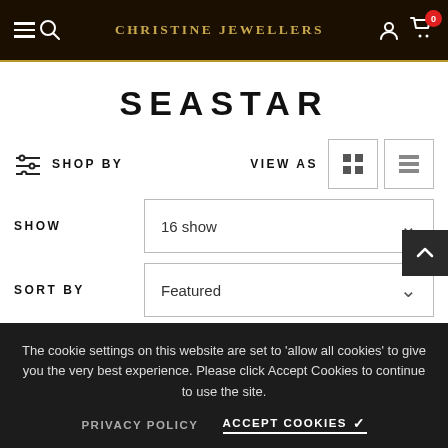Christine Jewellers
SEASTAR
SHOP BY
VIEW AS
SHOW  16 show
SORT BY  Featured
The cookie settings on this website are set to 'allow all cookies' to give you the very best experience. Please click Accept Cookies to continue to use the site.
PRIVACY POLICY   ACCEPT COOKIES ✓
Home > Seastar